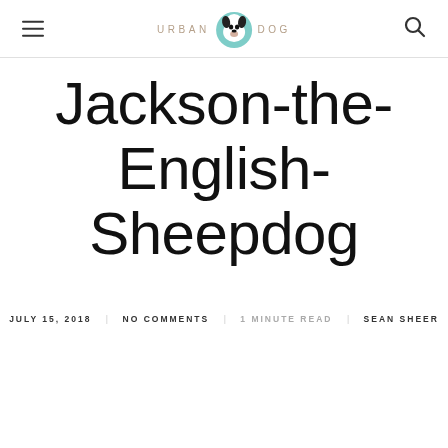URBAN DOG
Jackson-the-English-Sheepdog
JULY 15, 2018   NO COMMENTS   1 MINUTE READ   SEAN SHEER